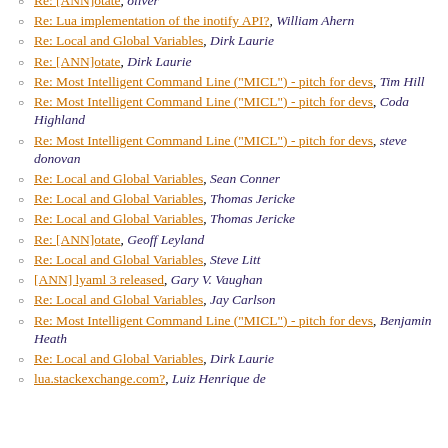Re: [ANN]otate, oliver
Re: Lua implementation of the inotify API?, William Ahern
Re: Local and Global Variables, Dirk Laurie
Re: [ANN]otate, Dirk Laurie
Re: Most Intelligent Command Line ("MICL") - pitch for devs, Tim Hill
Re: Most Intelligent Command Line ("MICL") - pitch for devs, Coda Highland
Re: Most Intelligent Command Line ("MICL") - pitch for devs, steve donovan
Re: Local and Global Variables, Sean Conner
Re: Local and Global Variables, Thomas Jericke
Re: Local and Global Variables, Thomas Jericke
Re: [ANN]otate, Geoff Leyland
Re: Local and Global Variables, Steve Litt
[ANN] lyaml 3 released, Gary V. Vaughan
Re: Local and Global Variables, Jay Carlson
Re: Most Intelligent Command Line ("MICL") - pitch for devs, Benjamin Heath
Re: Local and Global Variables, Dirk Laurie
lua.stackexchange.com?, Luiz Henrique de